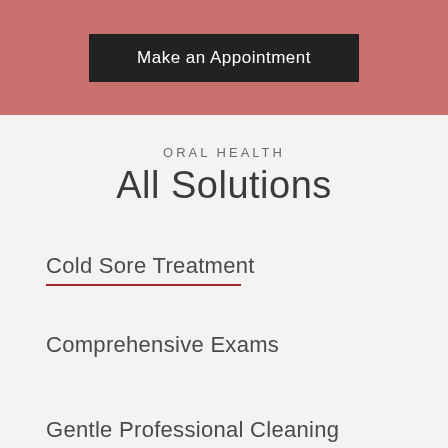[Figure (other): Dark button labeled 'Make an Appointment' on a dusty rose/mauve colored banner background]
ORAL HEALTH
All Solutions
Cold Sore Treatment
Comprehensive Exams
Gentle Professional Cleaning